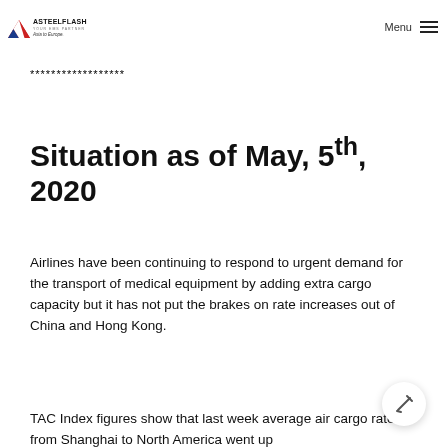ASTEELFLASH — YOUR EMS PARTNER — Asia to Europe. | Menu
******************
Situation as of May, 5th, 2020
Airlines have been continuing to respond to urgent demand for the transport of medical equipment by adding extra cargo capacity but it has not put the brakes on rate increases out of China and Hong Kong.
TAC Index figures show that last week average air cargo rates from Shanghai to North America went up